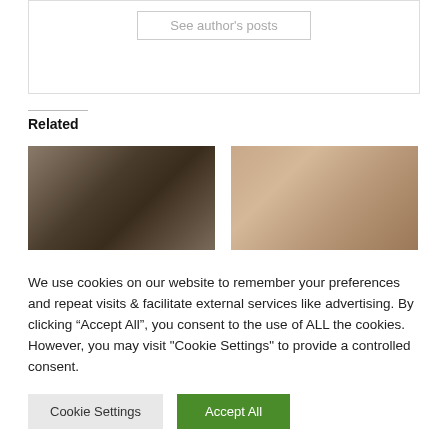See author's posts
Related
[Figure (photo): Burned/destroyed car wreckage]
[Figure (photo): Portrait of a young woman smiling]
We use cookies on our website to remember your preferences and repeat visits & facilitate external services like advertising. By clicking “Accept All”, you consent to the use of ALL the cookies. However, you may visit "Cookie Settings" to provide a controlled consent.